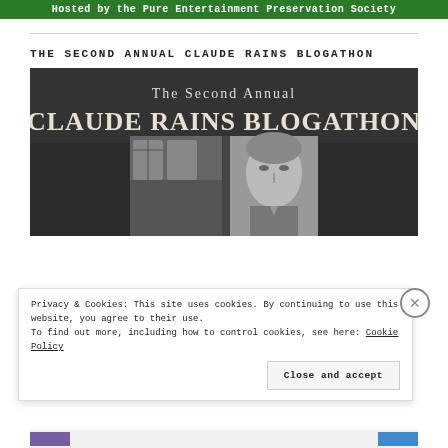Hosted by the Pure Entertainment Preservation Society
THE SECOND ANNUAL CLAUDE RAINS BLOGATHON
[Figure (illustration): Dark banner image with white serif text reading 'The Second Annual CLAUDE RAINS BLOGATHON' above a black-and-white photo of Claude Rains]
Privacy & Cookies: This site uses cookies. By continuing to use this website, you agree to their use.
To find out more, including how to control cookies, see here: Cookie Policy
Close and accept